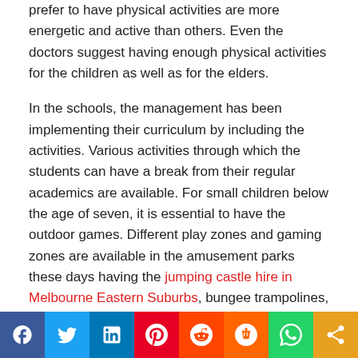prefer to have physical activities are more energetic and active than others. Even the doctors suggest having enough physical activities for the children as well as for the elders.
In the schools, the management has been implementing their curriculum by including the activities. Various activities through which the students can have a break from their regular academics are available. For small children below the age of seven, it is essential to have the outdoor games. Different play zones and gaming zones are available in the amusement parks these days having the jumping castle hire in Melbourne Eastern Suburbs, bungee trampolines, dino rides and many other games which can make the children feel exciting and happy.Parents should avoid the outside foods for their children as they can harm them. The food they get outside cannot be as hygienic as the home food. The food is the source that can provide them
[Figure (infographic): Social media sharing bar with icons for Facebook, Twitter, LinkedIn, Pinterest, Reddit, Mix, WhatsApp, and Share]